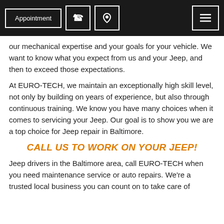Appointment [phone icon] [location icon] [menu icon]
our mechanical expertise and your goals for your vehicle. We want to know what you expect from us and your Jeep, and then to exceed those expectations.
At EURO-TECH, we maintain an exceptionally high skill level, not only by building on years of experience, but also through continuous training. We know you have many choices when it comes to servicing your Jeep. Our goal is to show you we are a top choice for Jeep repair in Baltimore.
CALL US TO WORK ON YOUR JEEP!
Jeep drivers in the Baltimore area, call EURO-TECH when you need maintenance service or auto repairs. We're a trusted local business you can count on to take care of